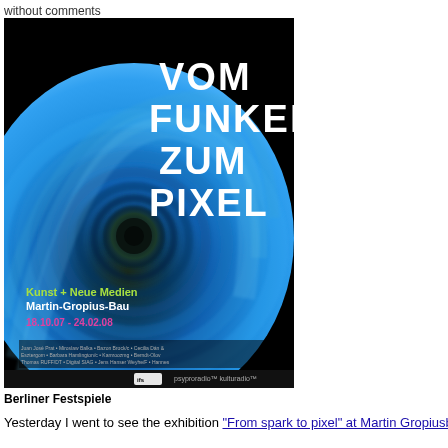without comments
[Figure (illustration): Exhibition poster for 'Vom Funken zum Pixel' (From Spark to Pixel), featuring a swirling blue vortex/spiral on black background. Text reads: VOM FUNKEN ZUM PIXEL, Kunst + Neue Medien, Martin-Gropius-Bau, 18.10.07 - 24.02.08. Berliner Festspiele logo at bottom.]
Berliner Festspiele
Yesterday I went to see the exhibition "From spark to pixel" at Martin Gropiusb